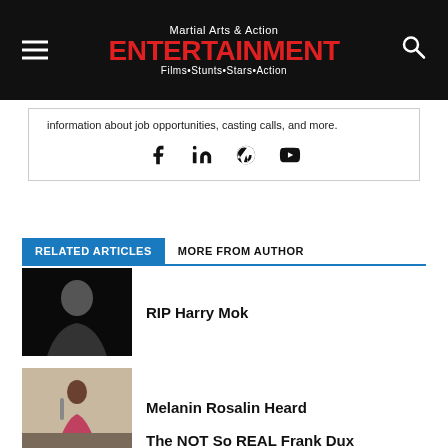Martial Arts & Action ENTERTAINMENT Films•Stunts•Stars•Action
information about job opportunities, casting calls, and more.
[Figure (other): Social media icons: Facebook, LinkedIn, WordPress, YouTube]
RELATED ARTICLES
MORE FROM AUTHOR
[Figure (photo): Photo of Harry Mok, man in black shirt against dark background]
RIP Harry Mok
[Figure (photo): Photo of Melanin Rosalin Heard, woman with weapon in action pose]
Melanin Rosalin Heard
[Figure (photo): Photo related to The NOT So REAL Frank Dux article]
The NOT So REAL Frank Dux